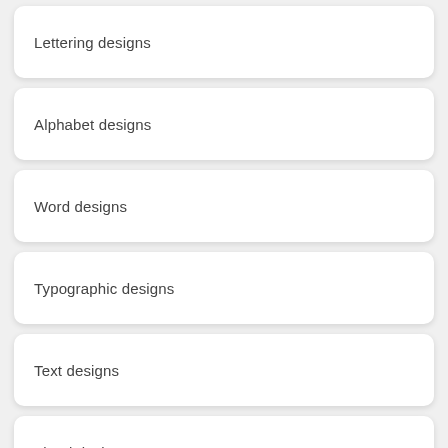Lettering designs
Alphabet designs
Word designs
Typographic designs
Text designs
Floral designs
Mandala designs